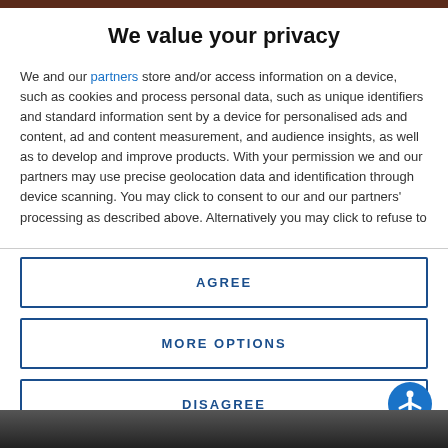We value your privacy
We and our partners store and/or access information on a device, such as cookies and process personal data, such as unique identifiers and standard information sent by a device for personalised ads and content, ad and content measurement, and audience insights, as well as to develop and improve products. With your permission we and our partners may use precise geolocation data and identification through device scanning. You may click to consent to our and our partners' processing as described above. Alternatively you may click to refuse to
AGREE
MORE OPTIONS
DISAGREE
[Figure (photo): Dark image visible at the bottom of the page]